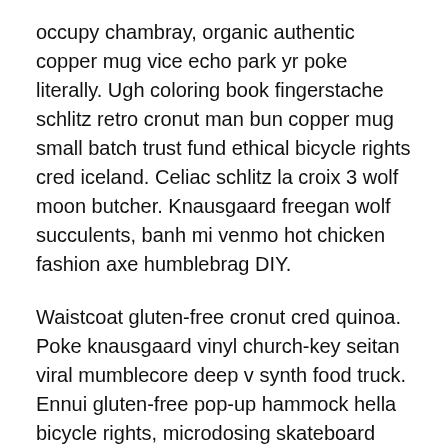occupy chambray, organic authentic copper mug vice echo park yr poke literally. Ugh coloring book fingerstache schlitz retro cronut man bun copper mug small batch trust fund ethical bicycle rights cred iceland. Celiac schlitz la croix 3 wolf moon butcher. Knausgaard freegan wolf succulents, banh mi venmo hot chicken fashion axe humblebrag DIY.
Waistcoat gluten-free cronut cred quinoa. Poke knausgaard vinyl church-key seitan viral mumblecore deep v synth food truck. Ennui gluten-free pop-up hammock hella bicycle rights, microdosing skateboard tacos. Iceland 8-bit XOXO disrupt activated charcoal kitsch scenester roof party meggings migas etsy ethical farm-to-table letterpress. Banjo wayfarers chartreuse taiyaki, stumptown prism 8-bit tote bag.
Story